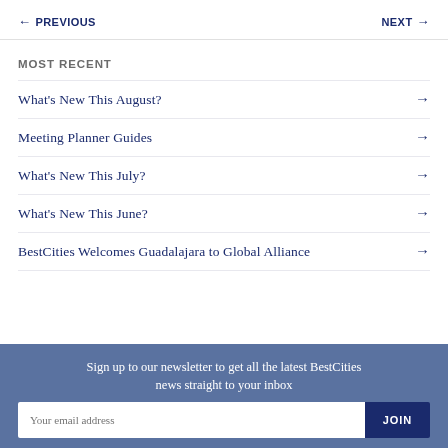← PREVIOUS   NEXT →
MOST RECENT
What's New This August? →
Meeting Planner Guides →
What's New This July? →
What's New This June? →
BestCities Welcomes Guadalajara to Global Alliance →
Sign up to our newsletter to get all the latest BestCities news straight to your inbox
Your email address  JOIN